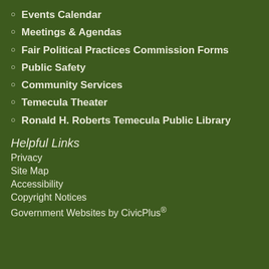Events Calendar
Meetings & Agendas
Fair Political Practices Commission Forms
Public Safety
Community Services
Temecula Theater
Ronald H. Roberts Temecula Public Library
Helpful Links
Privacy
Site Map
Accessibility
Copyright Notices
Government Websites by CivicPlus®